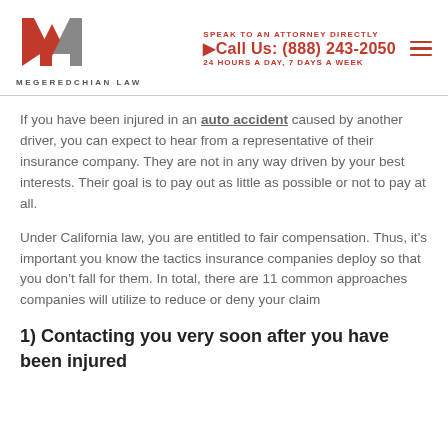[Figure (logo): Megeredchian Law logo with stylized M in orange and gray, and text MEGEREDCHIAN LAW below]
SPEAK TO AN ATTORNEY DIRECTLY
Call Us: (888) 243-2050
24 HOURS A DAY, 7 DAYS A WEEK
If you have been injured in an auto accident caused by another driver, you can expect to hear from a representative of their insurance company. They are not in any way driven by your best interests. Their goal is to pay out as little as possible or not to pay at all.
Under California law, you are entitled to fair compensation. Thus, it’s important you know the tactics insurance companies deploy so that you don’t fall for them. In total, there are 11 common approaches companies will utilize to reduce or deny your claim
1) Contacting you very soon after you have been injured